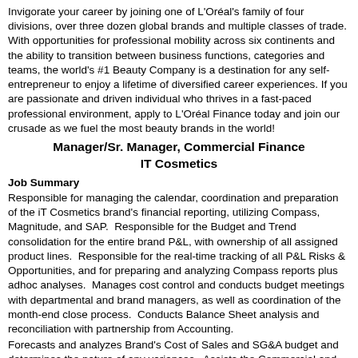Invigorate your career by joining one of L'Oréal's family of four divisions, over three dozen global brands and multiple classes of trade. With opportunities for professional mobility across six continents and the ability to transition between business functions, categories and teams, the world's #1 Beauty Company is a destination for any self-entrepreneur to enjoy a lifetime of diversified career experiences. If you are passionate and driven individual who thrives in a fast-paced professional environment, apply to L'Oréal Finance today and join our crusade as we fuel the most beauty brands in the world!
Manager/Sr. Manager, Commercial Finance IT Cosmetics
Job Summary
Responsible for managing the calendar, coordination and preparation of the iT Cosmetics brand's financial reporting, utilizing Compass, Magnitude, and SAP.  Responsible for the Budget and Trend consolidation for the entire brand P&L, with ownership of all assigned product lines.  Responsible for the real-time tracking of all P&L Risks & Opportunities, and for preparing and analyzing Compass reports plus adhoc analyses.  Manages cost control and conducts budget meetings with departmental and brand managers, as well as coordination of the month-end close process.  Conducts Balance Sheet analysis and reconciliation with partnership from Accounting.
Forecasts and analyzes Brand's Cost of Sales and SG&A budget and determines the nature of any variances.  Assists the Commercial and Brand Finance partners with the preparation of Budget, Trends and 3-year plan presentations to senior management
Minimum Job Requirements